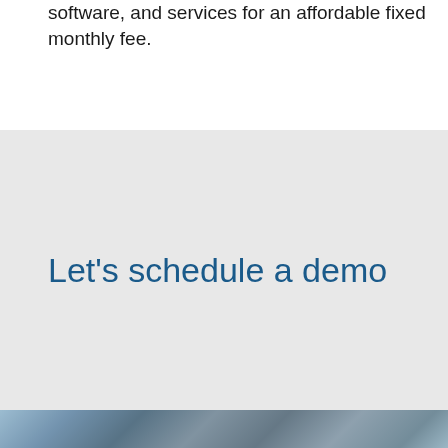software, and services for an affordable fixed monthly fee.
Let's schedule a demo
[Figure (photo): Partial view of a photo at the bottom of the page, appearing to show a person in a suit against a blue background or architectural element.]